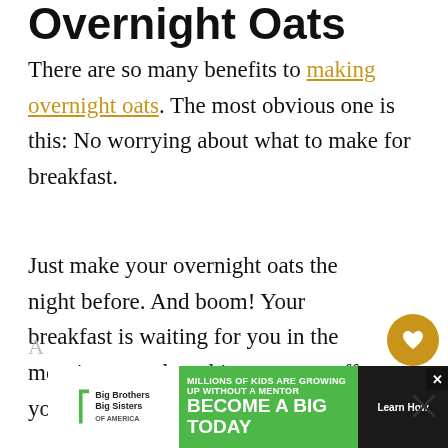Overnight Oats
There are so many benefits to making overnight oats. The most obvious one is this: No worrying about what to make for breakfast.
Just make your overnight oats the night before. And boom! Your breakfast is waiting for you in the morning...one less thing to cross off your morning To-Do List.
[Figure (other): Advertisement banner for Big Brothers Big Sisters: 'Millions of kids are growing up without a mentor. Become a Big Today' with Learn How button on green background]